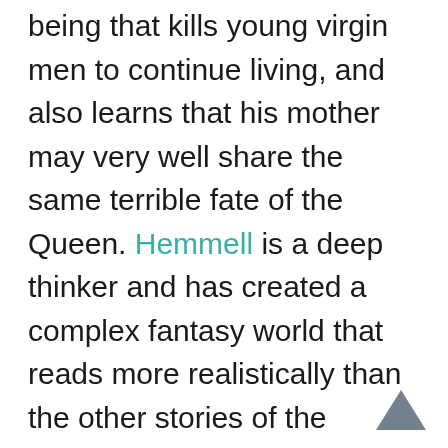being that kills young virgin men to continue living, and also learns that his mother may very well share the same terrible fate of the Queen. Hemmell is a deep thinker and has created a complex fantasy world that reads more realistically than the other stories of the anthology and a world that houses characters just as complex as its story. Readers will become entranced by the author's writing style as they jump between different moments in different times, as they read about a boy with the ability to see into not just the future, but the past as well, and as they read about a